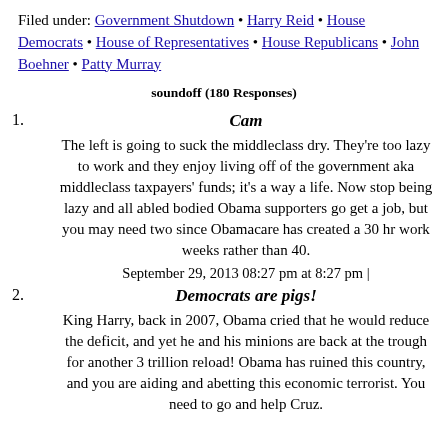Filed under: Government Shutdown • Harry Reid • House Democrats • House of Representatives • House Republicans • John Boehner • Patty Murray
soundoff (180 Responses)
1. Cam
The left is going to suck the middleclass dry. They're too lazy to work and they enjoy living off of the government aka middleclass taxpayers' funds; it's a way a life. Now stop being lazy and all abled bodied Obama supporters go get a job, but you may need two since Obamacare has created a 30 hr work weeks rather than 40.
September 29, 2013 08:27 pm at 8:27 pm |
2. Democrats are pigs!
King Harry, back in 2007, Obama cried that he would reduce the deficit, and yet he and his minions are back at the trough for another 3 trillion reload! Obama has ruined this country, and you are aiding and abetting this economic terrorist. You need to go and help Cruz.